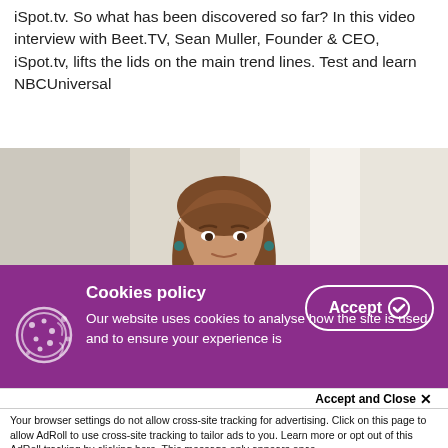iSpot.tv. So what has been discovered so far? In this video interview with Beet.TV, Sean Muller, Founder & CEO, iSpot.tv, lifts the lids on the main trend lines. Test and learn NBCUniversal
[Figure (photo): A woman with brown hair seated or standing indoors in front of a bright white background/curtain, wearing a blue top.]
Cookies policy
Our website uses cookies to analyse how the site is used and to ensure your experience is consistent between visits.
Accept and Close ✕
Your browser settings do not allow cross-site tracking for advertising. Click on this page to allow AdRoll to use cross-site tracking to tailor ads to you. Learn more or opt out of this AdRoll tracking by clicking here. This message only appears once.